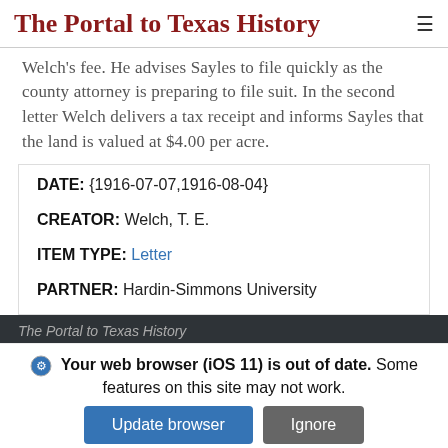The Portal to Texas History
Welch's fee. He advises Sayles to file quickly as the county attorney is preparing to file suit. In the second letter Welch delivers a tax receipt and informs Sayles that the land is valued at $4.00 per acre.
| DATE: | {1916-07-07,1916-08-04} |
| CREATOR: | Welch, T. E. |
| ITEM TYPE: | Letter |
| PARTNER: | Hardin-Simmons University |
The Portal to Texas History
Your web browser (iOS 11) is out of date. Some features on this site may not work.